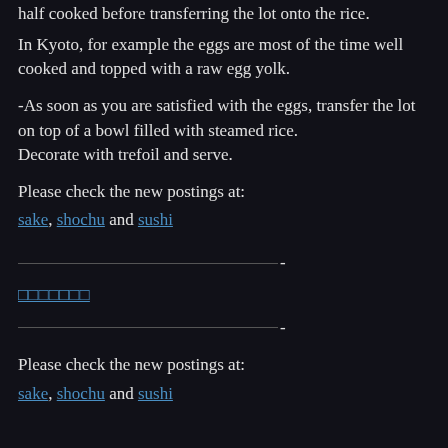half cooked before transferring the lot onto the rice.
In Kyoto, for example the eggs are most of the time well cooked and topped with a raw egg yolk.
-As soon as you are satisfied with the eggs, transfer the lot on top of a bowl filled with steamed rice.
Decorate with trefoil and serve.
Please check the new postings at:
sake, shochu and sushi
————————————————-
□□□□□□□
————————————————-
Please check the new postings at:
sake, shochu and sushi